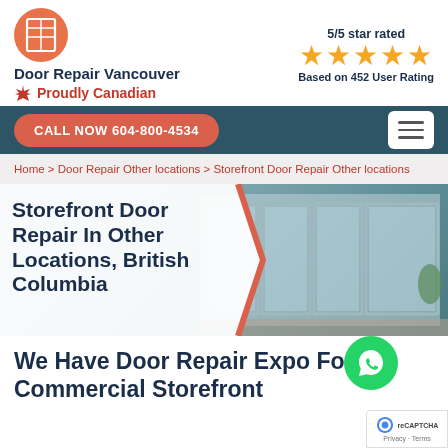[Figure (logo): Door Repair Vancouver logo with orange circular icon containing a door/grid graphic]
Door Repair Vancouver
🍁 Proudly Canadian
5/5 star rated
★★★★★
Based on 452 User Rating
CALL NOW 604-800-4534
Home > Door Repair Other locations > Storefront Door Repair Other locations
Storefront Door Repair In Other Locations, British Columbia
[Figure (photo): Photo of a storefront with glass doors and aluminum frames]
We Have Door Repair Expo For Commercial Storefront